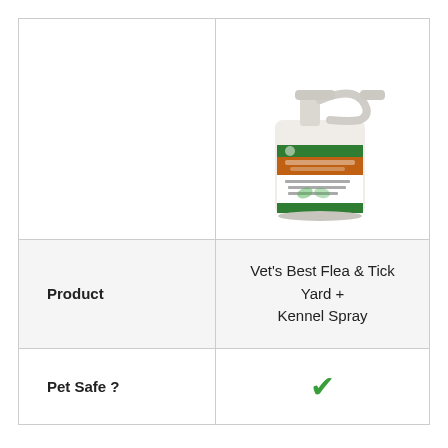[Figure (photo): Photo of Vet's Best Flea & Tick Yard + Kennel Spray bottle, a white spray bottle with a trigger sprayer and branded label showing green and orange colors.]
|  |  |
| --- | --- |
| Product | Vet's Best Flea & Tick Yard + Kennel Spray |
| Pet Safe ? | ✓ |